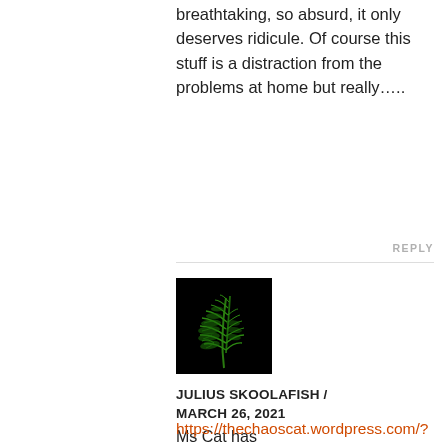breathtaking, so absurd, it only deserves ridicule. Of course this stuff is a distraction from the problems at home but really…..
REPLY
[Figure (photo): A green fern leaf on a black background, used as a commenter avatar image.]
JULIUS SKOOLAFISH / MARCH 26, 2021
Ms Cat has published/reposted some very worthwhile articles and prepared an extensive compilation on Xinjiang
.
https://thechaoscat.wordpress.com/?